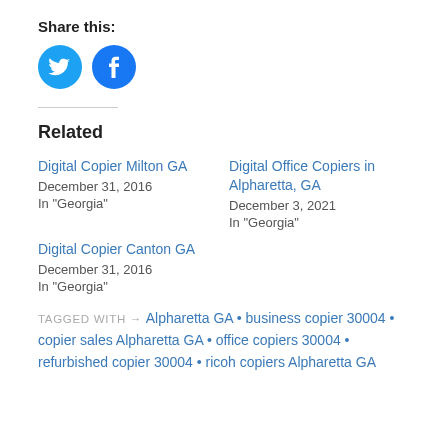Share this:
[Figure (illustration): Twitter and Facebook social sharing buttons as blue circles with white icons]
Related
Digital Copier Milton GA
December 31, 2016
In "Georgia"
Digital Office Copiers in Alpharetta, GA
December 3, 2021
In "Georgia"
Digital Copier Canton GA
December 31, 2016
In "Georgia"
TAGGED WITH → Alpharetta GA • business copier 30004 • copier sales Alpharetta GA • office copiers 30004 • refurbished copier 30004 • ricoh copiers Alpharetta GA